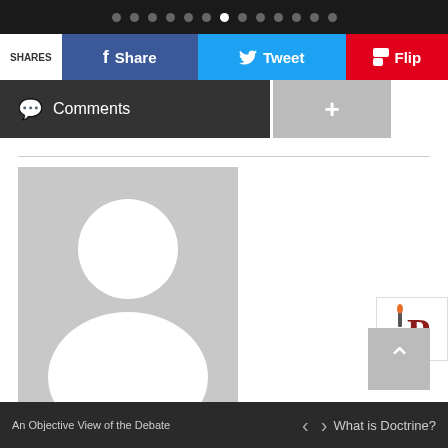[Figure (screenshot): Dot navigation bar at top, dark background with circular dots]
[Figure (screenshot): Social share bar with Share (Facebook), Tweet (Twitter), and Flip (Flipboard) buttons]
[Figure (screenshot): Comments and plus buttons row]
[Figure (photo): Default gray avatar silhouette placeholder image for iPatriot Contributers author]
[Figure (logo): iPatriot logo box showing 'iP' with candle flame icon]
iPatriot Contributers
[Figure (screenshot): Archives and Website buttons for the author]
An Objective View of the Debate  <  >  What is Doctrine?